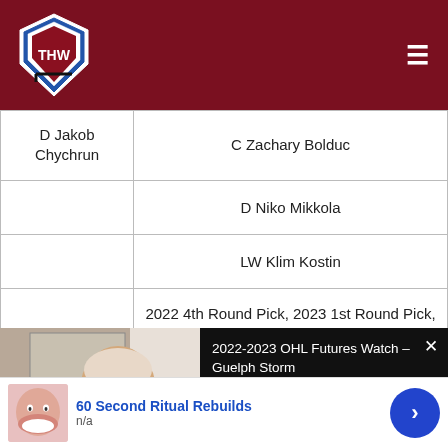THW (The Hockey Writers) navigation bar
|  |  |
| --- | --- |
| D Jakob Chychrun | C Zachary Bolduc |
|  | D Niko Mikkola |
|  | LW Klim Kostin |
|  | 2022 4th Round Pick, 2023 1st Round Pick, 2024 3rd Round Pick |
[Figure (screenshot): Video thumbnail showing a man with glasses in an office setting, with text overlay '2022-2023 OHL Futures Watch – Guelph Storm' on black background, with X close button]
opportunity to move the contract of Scandella. I believe that
[Figure (screenshot): Advertisement bar showing '60 Second Ritual Rebuilds' with thumbnail of smiling woman and blue arrow button, subtext 'n/a']